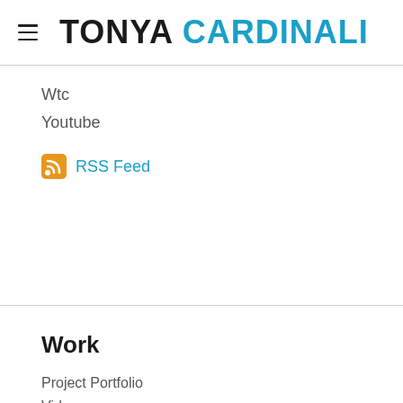TONYA CARDINALI
Wtc
Youtube
RSS Feed
Work
Project Portfolio
Videos